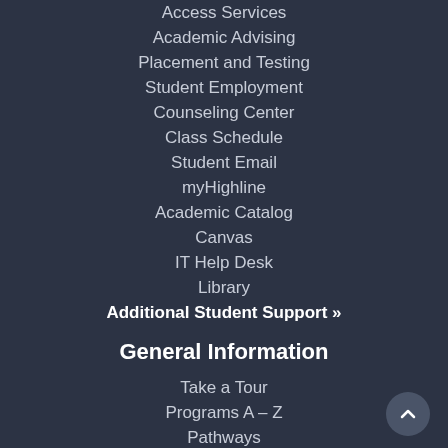Access Services
Academic Advising
Placement and Testing
Student Employment
Counseling Center
Class Schedule
Student Email
myHighline
Academic Catalog
Canvas
IT Help Desk
Library
Additional Student Support »
General Information
Take a Tour
Programs A – Z
Pathways
Locations & Directions